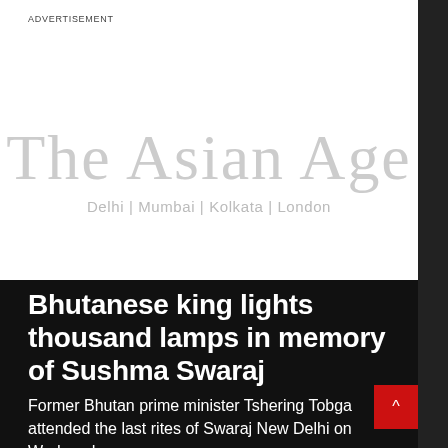ADVERTISEMENT
[Figure (logo): The Asian Age newspaper logo with tagline 'Delhi | Mumbai | Kolkata | London' in light gray on white background]
Bhutanese king lights thousand lamps in memory of Sushma Swaraj
Former Bhutan prime minister Tshering Tobga attended the last rites of Swaraj New Delhi on Wednesday.